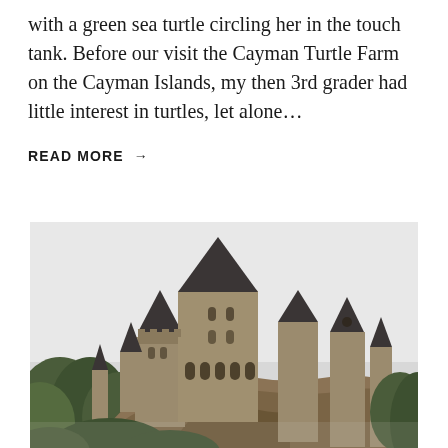with a green sea turtle circling her in the touch tank. Before our visit the Cayman Turtle Farm on the Cayman Islands, my then 3rd grader had little interest in turtles, let alone...
READ MORE →
[Figure (photo): A large gothic castle (resembling Hogwarts from Harry Potter) sitting on a rocky hill, surrounded by trees and vegetation, photographed from below against a light sky.]